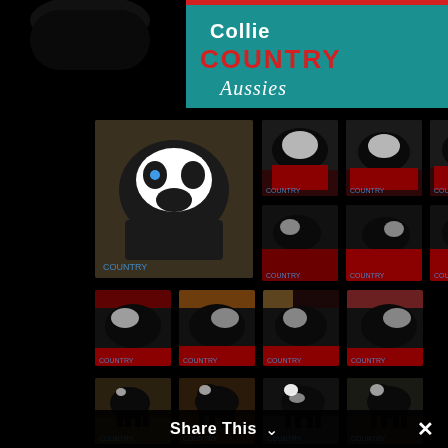[Figure (photo): Top banner showing 'Collie Country Aussies' logo/text on teal/colorful background, partially obscured by a black dog silhouette in the upper left]
[Figure (photo): Grid of 16 thumbnail photos of black and white Australian Shepherd / Border Collie puppies arranged in a 4x4 grid on a black background]
Share This